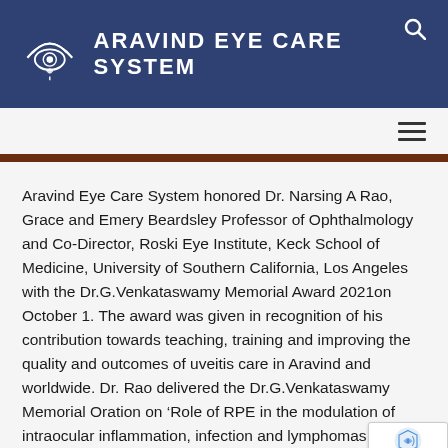ARAVIND EYE CARE SYSTEM
Aravind Eye Care System honored Dr. Narsing A Rao, Grace and Emery Beardsley Professor of Ophthalmology and Co-Director, Roski Eye Institute, Keck School of Medicine, University of Southern California, Los Angeles with the Dr.G.Venkataswamy Memorial Award 2021on October 1. The award was given in recognition of his contribution towards teaching, training and improving the quality and outcomes of uveitis care in Aravind and worldwide. Dr. Rao delivered the Dr.G.Venkataswamy Memorial Oration on ‘Role of RPE in the modulation of intraocular inflammation, infection and lymphomas – Clinical